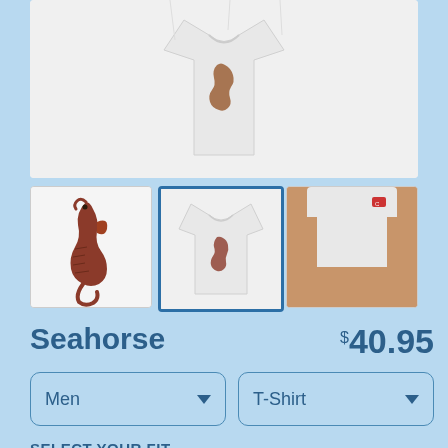[Figure (photo): Main product image showing a white t-shirt with a seahorse design, displayed on a light gray background]
[Figure (photo): Thumbnail 1: Close-up of the seahorse illustration (brown/red seahorse on white background)]
[Figure (photo): Thumbnail 2 (selected): White t-shirt with seahorse design, front view]
[Figure (photo): Thumbnail 3: Model wearing the t-shirt, partial view]
Seahorse
$40.95
Men
T-Shirt
SELECT YOUR FIT
$22.45
Regular
$27.95
Extra Soft